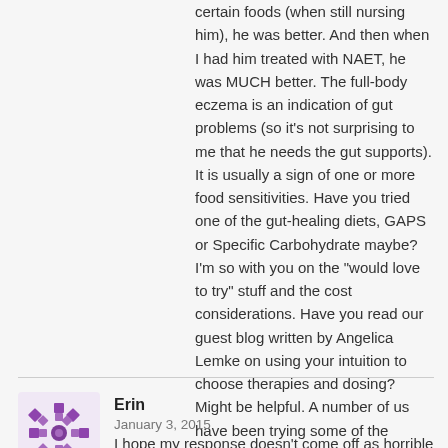certain foods (when still nursing him), he was better. And then when I had him treated with NAET, he was MUCH better. The full-body eczema is an indication of gut problems (so it's not surprising to me that he needs the gut supports). It is usually a sign of one or more food sensitivities. Have you tried one of the gut-healing diets, GAPS or Specific Carbohydrate maybe? I'm so with you on the "would love to try" stuff and the cost considerations. Have you read our guest blog written by Angelica Lemke on using your intuition to choose therapies and dosing? Might be helpful. A number of us have been trying some of the techniques she mentions and are getting good results with them.
https://thinkingmomsrevolution.com/intuitive-tools-moms-dads/
Please don't worry about anyone else's impressions of what you're doing. It sounds like you're doing a fantastic job!
Reply
[Figure (illustration): Purple decorative snowflake/geometric avatar icon for commenter Erin]
Erin
January 3, 2015
I hope my response doesn't come off as horrible